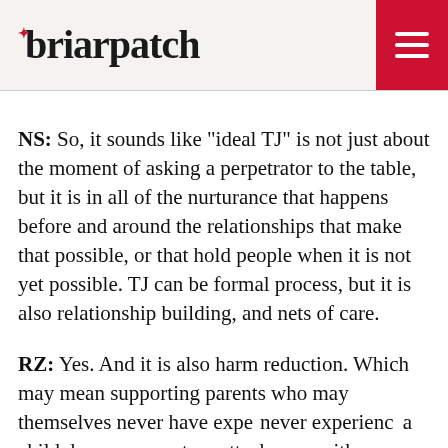briarpatch
NS: So, it sounds like “ideal TJ” is not just about the moment of asking a perpetrator to the table, but it is in all of the nurturance that happens before and around the relationships that make that possible, or that hold people when it is not yet possible. TJ can be formal process, but it is also relationship building, and nets of care.
RZ: Yes. And it is also harm reduction. Which may mean supporting parents who may themselves never have expe… never experienc… a child, how wou… nurture attachm… or with your lover or partner, for that matter? How
Get a year of Briarpatch for only $22 with offer code BP2022. Subscribe today.